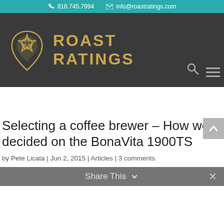816.745.7994  info@roastratings.com
[Figure (logo): Roast Ratings logo with pentagram star in a coffee drop shape and gold text reading ROAST RATINGS]
Selecting a coffee brewer – How we decided on the BonaVita 1900TS
by Pete Licata | Jun 2, 2015 | Articles | 3 comments
Share This